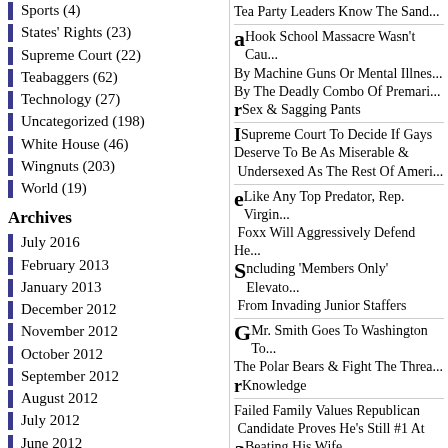Sports (4)
States' Rights (23)
Supreme Court (22)
Teabaggers (62)
Technology (27)
Uncategorized (198)
White House (46)
Wingnuts (203)
World (19)
Archives
July 2016
February 2013
January 2013
December 2012
November 2012
October 2012
September 2012
August 2012
July 2012
June 2012
May 2012
April 2012
Tea Party Leaders Know The Sand... Hook School Massacre Wasn't Cau... By Machine Guns Or Mental Illnes... By The Deadly Combo Of Premari... Sex & Sagging Pants Supreme Court To Decide If Gays Deserve To Be As Miserable & Undersexed As The Rest Of Ameri... Like Any Top Predator, Rep. Virgin... Foxx Will Aggressively Defend He... Including 'Members Only' Elevato... From Invading Junior Staffers Mr. Smith Goes To Washington To... The Polar Bears & Fight The Threa... Knowledge Failed Family Values Republican Candidate Proves He's Still #1 At Beating His Wife Marco Rubio Is An Idiot, Not A Sci... Automatically Qualifying Him As ... GOP Frontrunner The Spy Who Shagged Me: Genera... Petraeus Taken Out By Bizarre Lov... Triangle Not Bullets Let Sleeping Dogs Lie: President ...